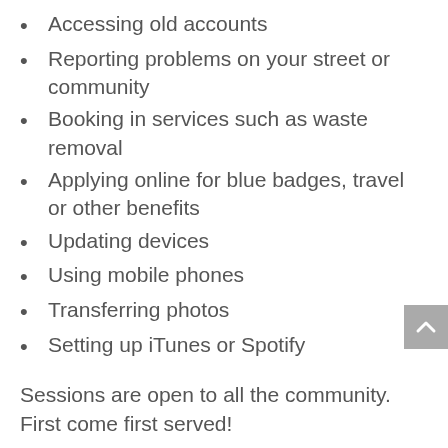Accessing old accounts
Reporting problems on your street or community
Booking in services such as waste removal
Applying online for blue badges, travel or other benefits
Updating devices
Using mobile phones
Transferring photos
Setting up iTunes or Spotify
Sessions are open to all the community. First come first served!
This class is provided by ClearCommunityWeb and is part of the Digital Lounge @ UNLH program